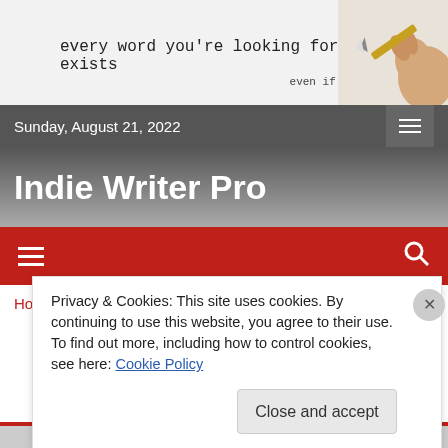[Figure (screenshot): Website header with tagline 'every word you're looking for already exists / even if you make them up' and a hand holding a pencil illustration on the right]
Sunday, August 21, 2022
Indie Writer Pro
[Figure (screenshot): Red navigation bar with hamburger menu icon on left and search icon on right]
Home / Writing / Book Marketing Insight
Privacy & Cookies: This site uses cookies. By continuing to use this website, you agree to their use.
To find out more, including how to control cookies, see here: Cookie Policy
Close and accept